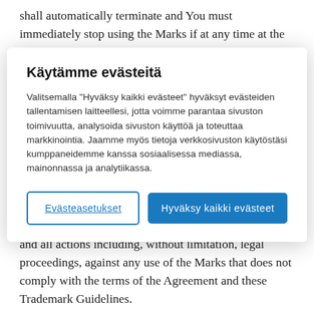shall automatically terminate and You must immediately stop using the Marks if at any time at the earliest of the following:
[Figure (screenshot): Cookie consent modal dialog with Finnish text. Title: 'Käytämme evästeitä'. Body text describes cookie usage policy. Two buttons: 'Evästeasetukset' (outlined) and 'Hyväksy kaikki evästeet' (blue filled).]
Trademark Guidelines at any time; (2) we may modify or terminate Your limited right to use the Marks, at any time in our sole discretion, for any reason or for no reason at all; and (3) we reserve the right to take any and all actions including, without limitation, legal proceedings, against any use of the Marks that does not comply with the terms of the Agreement and these Trademark Guidelines.